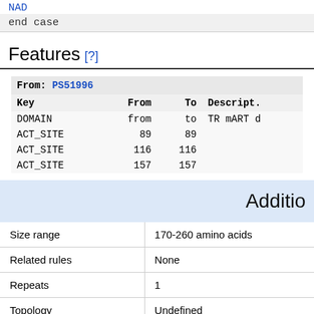NAD
end case
Features [?]
| From: PS51996 |  |  |  |
| --- | --- | --- | --- |
| Key | From | To | Descript. |
| DOMAIN | from | to | TR mART d |
| ACT_SITE | 89 | 89 |  |
| ACT_SITE | 116 | 116 |  |
| ACT_SITE | 157 | 157 |  |
Additio
|  |  |
| --- | --- |
| Size range | 170-260 amino acids |
| Related rules | None |
| Repeats | 1 |
| Topology | Undefined |
| Example | P21454 (SPVB_SALT |